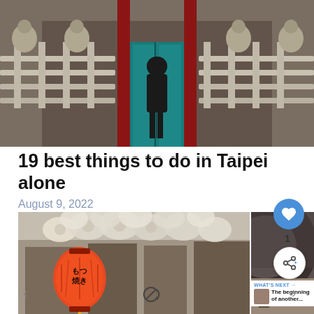[Figure (photo): Person in black outfit standing at a traditional Chinese temple entrance with red columns and ornate stone railings]
19 best things to do in Taipei alone
August 9, 2022
[Figure (photo): Japanese lantern reading 'もつ焼き' with white paper flower decorations in a street market scene]
[Figure (photo): Circular dark metallic decorative element, partially visible on right side]
WHAT'S NEXT → The beginning of another...